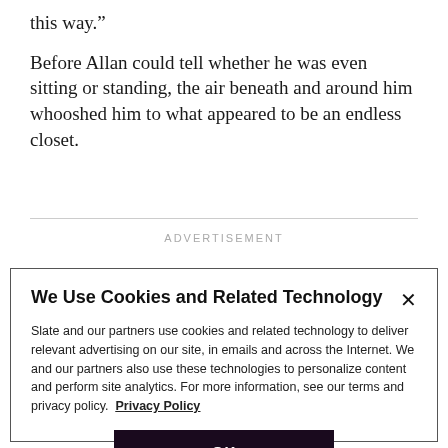this way.”
Before Allan could tell whether he was even sitting or standing, the air beneath and around him whooshed him to what appeared to be an endless closet.
ADVERTISEMENT
We Use Cookies and Related Technology
Slate and our partners use cookies and related technology to deliver relevant advertising on our site, in emails and across the Internet. We and our partners also use these technologies to personalize content and perform site analytics. For more information, see our terms and privacy policy.  Privacy Policy
OK